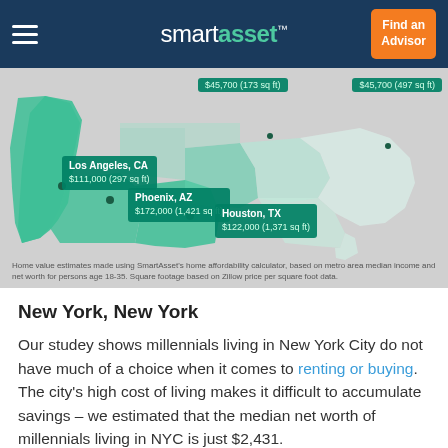smartasset™ — Find an Advisor
[Figure (map): US map showing millennial home affordability by city: Los Angeles CA $111,000 (297 sq ft), Phoenix AZ $172,000 (1,421 sq ft), Houston TX $122,000 (1,371 sq ft), two locations at $45,700 (173 sq ft) and $45,700 (497 sq ft)]
Home value estimates made using SmartAsset's home affordability calculator, based on metro area median income and net worth for persons age 18-35. Square footage based on Zillow price per square foot data.
New York, New York
Our studey shows millennials living in New York City do not have much of a choice when it comes to renting or buying. The city's high cost of living makes it difficult to accumulate savings – we estimated that the median net worth of millennials living in NYC is just $2,431.
At the same time, New York's housing market is one of the